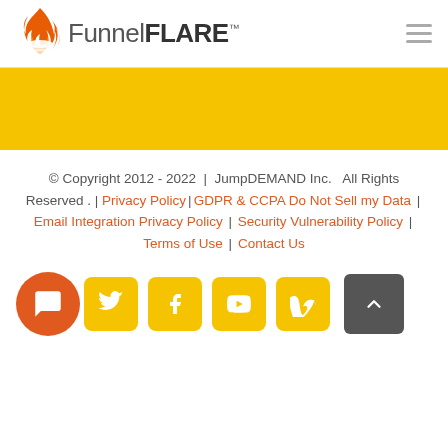[Figure (logo): FunnelFLARE logo with flame icon]
[Figure (other): Yellow banner strip]
© Copyright 2012 - 2022 | JumpDEMAND Inc. All Rights Reserved . | Privacy Policy | GDPR & CCPA Do Not Sell my Data | Email Integration Privacy Policy | Security Vulnerability Policy | Terms of Use | Contact Us
[Figure (infographic): Social media icons (Twitter, Facebook, YouTube, Vimeo) in yellow rounded squares, back-to-top button, and orange chat bubble icon]